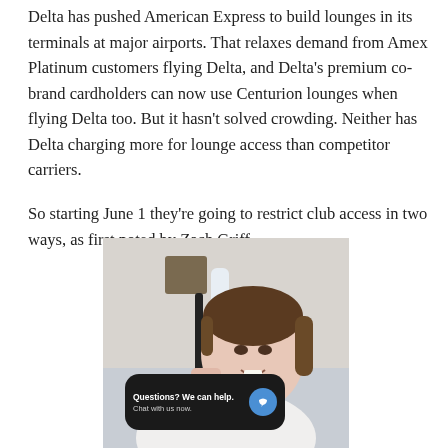Delta has pushed American Express to build lounges in its terminals at major airports. That relaxes demand from Amex Platinum customers flying Delta, and Delta's premium co-brand cardholders can now use Centurion lounges when flying Delta too. But it hasn't solved crowding. Neither has Delta charging more for lounge access than competitor carriers.

So starting June 1 they're going to restrict club access in two ways, as first noted by Zach Griff.
[Figure (photo): A young woman smiling, holding a toothbrush and toothpaste tube, with a chat widget overlay reading 'Questions? We can help. Chat with us now.' with a blue speech bubble icon.]